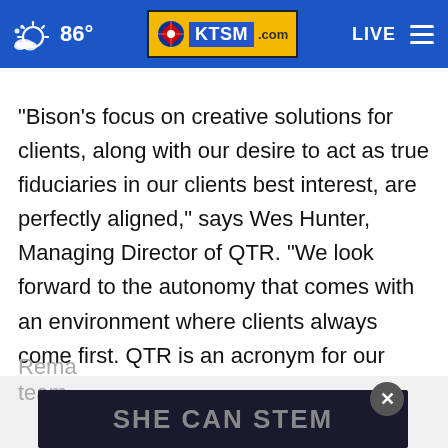86° KTSM.com LIVE
"Bison's focus on creative solutions for clients, along with our desire to act as true fiduciaries in our clients best interest, are perfectly aligned," says Wes Hunter, Managing Director of QTR. "We look forward to the autonomy that comes with an environment where clients always come first. QTR is an acronym for our vision to help you and your families live a disciplined, well-balanced and flexible life. It stands for 'Quality Ti e
Rema team
[Figure (screenshot): Ad overlay banner with text 'SHE CAN STEM' on dark background with close button]